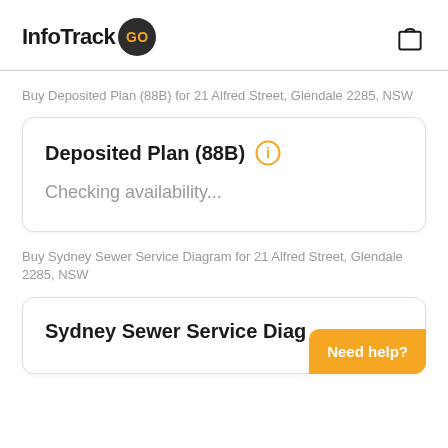InfoTrack GO
Buy Deposited Plan (88B) for 21 Alfred Street, Glendale 2285, NSW
Deposited Plan (88B)
Checking availability...
Buy Sydney Sewer Service Diagram for 21 Alfred Street, Glendale 2285, NSW
Sydney Sewer Service Diag